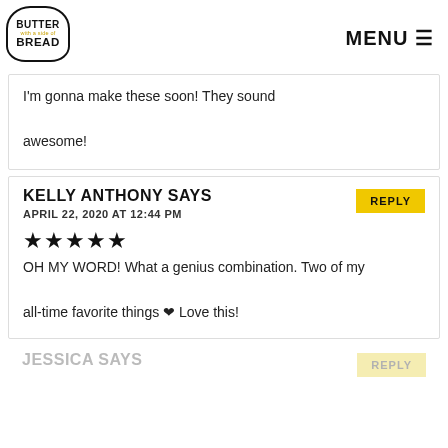BUTTER with a side of BREAD | MENU
I'm gonna make these soon! They sound awesome!
KELLY ANTHONY SAYS
APRIL 22, 2020 AT 12:44 PM
★★★★★
OH MY WORD! What a genius combination. Two of my all-time favorite things ❤ Love this!
JESSICA SAYS